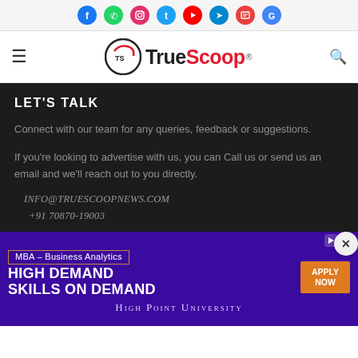Social media icons bar: Facebook, WhatsApp, Instagram, Twitter, YouTube, Telegram, Google News, Google
[Figure (logo): TrueScoop logo with TS circular icon and TrueScoop wordmark]
LET'S TALK
Connect with our team for any queries, feedback or suggestions.
If you're looking to advertise with us, you can Call us or send us an email and we'll reach out to you directly.
INFO@TRUESCOOPNEWS.COM
+91 70870-19003
[Figure (screenshot): Advertisement banner for High Point University MBA Business Analytics program with 'HIGH DEMAND SKILLS ON DEMAND' text and orange APPLY NOW button on purple background]